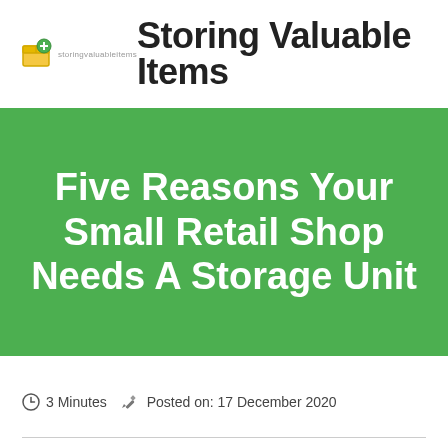Storing Valuable Items
Five Reasons Your Small Retail Shop Needs A Storage Unit
3 Minutes   Posted on: 17 December 2020